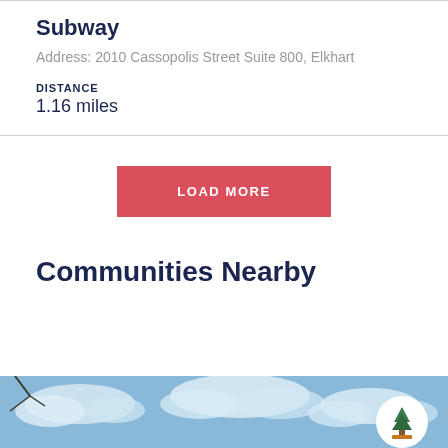Subway
Address: 2010 Cassopolis Street Suite 800, Elkhart
DISTANCE
1.16 miles
LOAD MORE
Communities Nearby
[Figure (photo): Blue sky with clouds photo strip at the bottom of the page, with a circular white badge containing a tree/community logo on the right side]